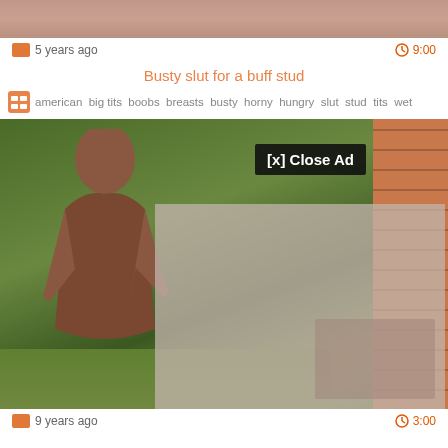[Figure (screenshot): Top cropped video thumbnail showing skin tones]
5 years ago
9:00
Busty slut for a buff stud
american  big tits  boobs  breasts  busty  horny  hungry  slut  stud  tits  wet
[Figure (screenshot): Outdoor video still with person near brick wall, overlay ad panel with [x] Close Ad button]
9 years ago
3:00